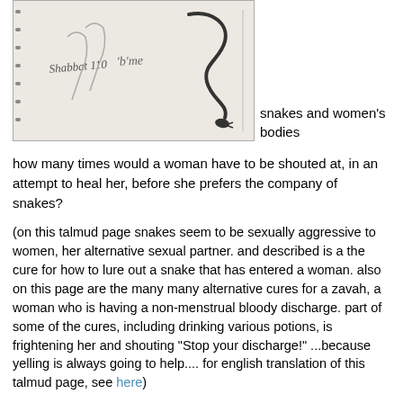[Figure (illustration): Pencil sketch/drawing showing snakes and women's bodies with handwritten text]
snakes and women's bodies
how many times would a woman have to be shouted at, in an attempt to heal her, before she prefers the company of snakes?
(on this talmud page snakes seem to be sexually aggressive to women, her alternative sexual partner. and described is a the cure for how to lure out a snake that has entered a woman. also on this page are the many many alternative cures for a zavah, a woman who is having a non-menstrual bloody discharge. part of some of the cures, including drinking various potions, is frightening her and shouting "Stop your discharge!" ...because yelling is always going to help.... for english translation of this talmud page, see here)
some days I really enjoy learning talmud. and some days I don't. today is one of the latter.